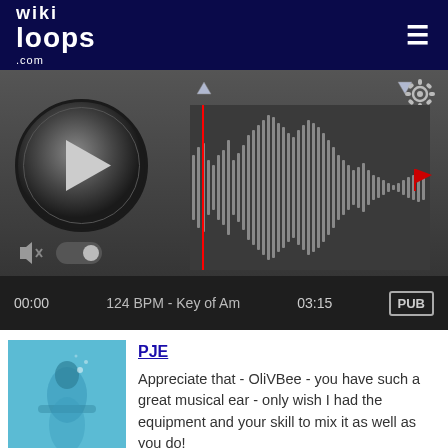wikiloops.com
[Figure (screenshot): Audio player with waveform, play button, time 00:00 / 03:15, 124 BPM - Key of Am, PUB badge]
PJE
Appreciate that - OliVBee - you have such a great musical ear - only wish I had the equipment and your skill to mix it as well as you do!
wikiloops.com usa i Cookies per fornirti la miglior esperienza di navigazione.
Leggi di più nella nostra nota sulla tutela dei dati personali .